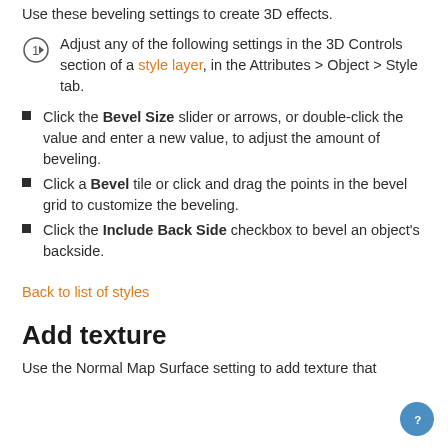Use these beveling settings to create 3D effects.
Adjust any of the following settings in the 3D Controls section of a style layer, in the Attributes > Object > Style tab.
Click the Bevel Size slider or arrows, or double-click the value and enter a new value, to adjust the amount of beveling.
Click a Bevel tile or click and drag the points in the bevel grid to customize the beveling.
Click the Include Back Side checkbox to bevel an object's backside.
Back to list of styles
Add texture
Use the Normal Map Surface setting to add texture that